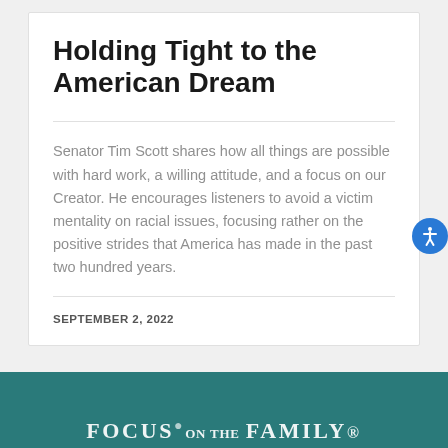Holding Tight to the American Dream
Senator Tim Scott shares how all things are possible with hard work, a willing attitude, and a focus on our Creator. He encourages listeners to avoid a victim mentality on racial issues, focusing rather on the positive strides that America has made in the past two hundred years.
SEPTEMBER 2, 2022
[Figure (logo): Focus on the Family teal banner logo at the bottom of the page]